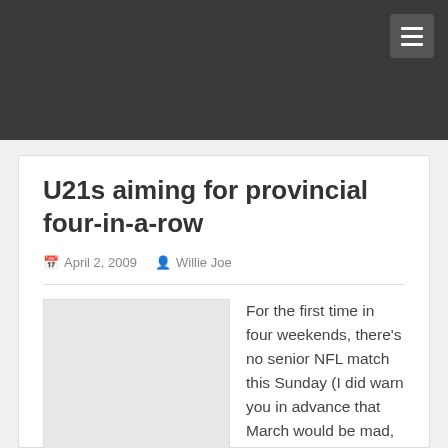U21s aiming for provincial four-in-a-row
April 2, 2009   Willie Joe
For the first time in four weekends, there's no senior NFL match this Sunday (I did warn you in advance that March would be mad, didn't I?) but it's still a big weekend for